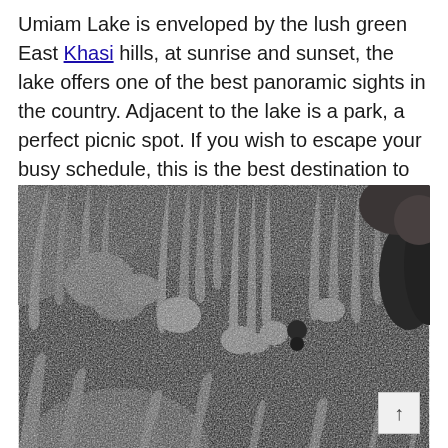Umiam Lake is enveloped by the lush green East Khasi hills, at sunrise and sunset, the lake offers one of the best panoramic sights in the country. Adjacent to the lake is a park, a perfect picnic spot. If you wish to escape your busy schedule, this is the best destination to travel to.
[Figure (photo): Black and white photograph of stalactites and stalagmites inside a cave, showing detailed rock formations hanging from the cave ceiling and rising from the floor.]